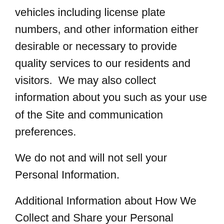vehicles including license plate numbers, and other information either desirable or necessary to provide quality services to our residents and visitors.  We may also collect information about you such as your use of the Site and communication preferences.
We do not and will not sell your Personal Information.
Additional Information about How We Collect and Share your Personal Information
With respect to each of the categories of data above, we may also collect and share Personal Information with third parties to comply with legal obligations; when we believe in good faith that an applicable law requires it; at the request of governmental authorities or other third parties conducting an investigation; to detect and protect against